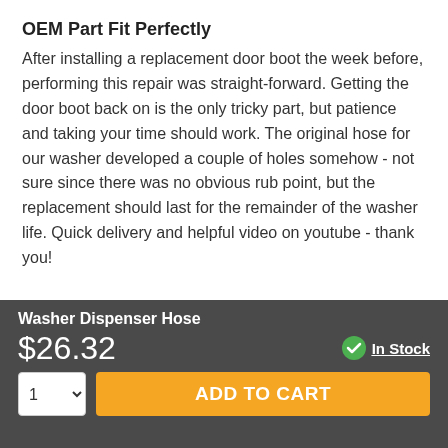OEM Part Fit Perfectly
After installing a replacement door boot the week before, performing this repair was straight-forward. Getting the door boot back on is the only tricky part, but patience and taking your time should work. The original hose for our washer developed a couple of holes somehow - not sure since there was no obvious rub point, but the replacement should last for the remainder of the washer life. Quick delivery and helpful video on youtube - thank you!
[Figure (other): Five orange star rating icons]
Washer Dispenser Hose
$26.32
In Stock
ADD TO CART